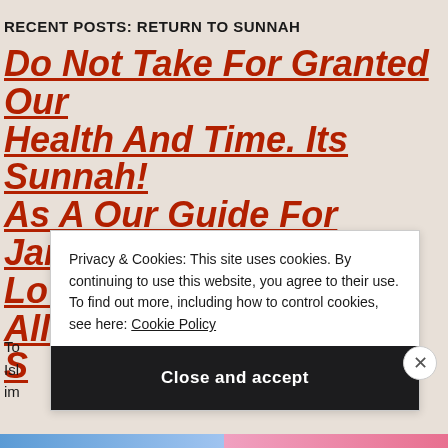RECENT POSTS: RETURN TO SUNNAH
Do Not Take For Granted Our Health And Time. Its Sunnah! As A Our Guide For Jannah Love For The Sake Of Allah Is S
To
Isl
im
Privacy & Cookies: This site uses cookies. By continuing to use this website, you agree to their use.
To find out more, including how to control cookies, see here: Cookie Policy
Close and accept